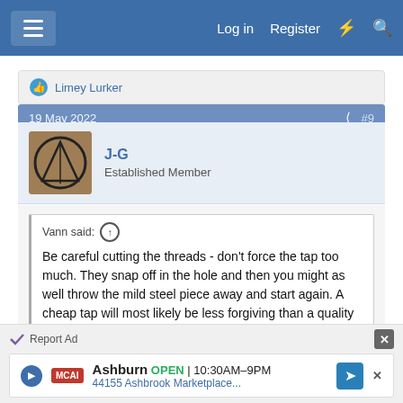Log in  Register
Limey Lurker
19 May 2022  #9
J-G
Established Member
Vann said: ↑
Be careful cutting the threads - don't force the tap too much. They snap off in the hole and then you might as well throw the mild steel piece away and start again. A cheap tap will most likely be less forgiving than a quality tap. Some old tapping sets say "cutting oil is useless" and recommend the use of dripping or similar - so that's an option.
Report Ad
Ashburn  OPEN  10:30AM–9PM
44155 Ashbrook Marketplace...